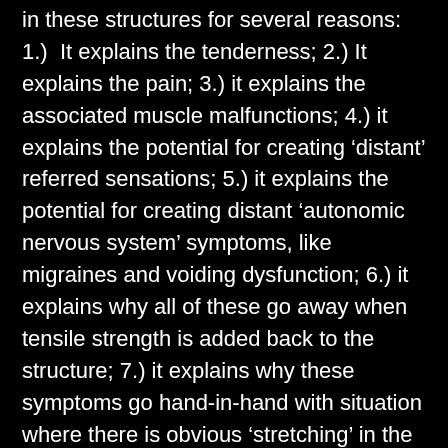in these structures for several reasons:  1.)  It explains the tenderness; 2.) It explains the pain; 3.) it explains the associated muscle malfunctions; 4.) it explains the potential for creating ‘distant’ referred sensations; 5.) it explains the potential for creating distant ‘autonomic nervous system’ symptoms, like migraines and voiding dysfunction; 6.) it explains why all of these go away when tensile strength is added back to the structure; 7.) it explains why these symptoms go hand-in-hand with situation where there is obvious ‘stretching’ in the ligament structure around joints, with physical evidence that includes damaged discs (due to abnormal mechanical forces on the disc due to abnormal motion of the bones), cartilage loss (due to abnormal loading forces on the disc due to abnormal